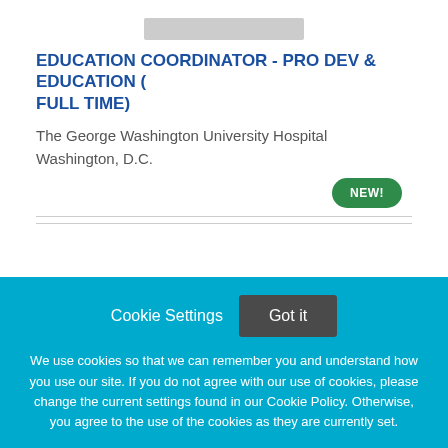[Figure (logo): University Hospital logo at top center]
EDUCATION COORDINATOR - PRO DEV & EDUCATION (FULL TIME)
The George Washington University Hospital
Washington, D.C.
NEW!
Cookie Settings  Got it
We use cookies so that we can remember you and understand how you use our site. If you do not agree with our use of cookies, please change the current settings found in our Cookie Policy. Otherwise, you agree to the use of the cookies as they are currently set.